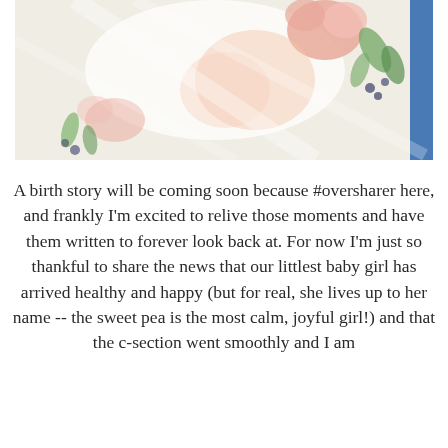[Figure (photo): Close-up photo of a newborn baby wrapped in a white hospital blanket with a floral print pattern featuring pink, peach, and green flowers and leaves. The baby is swaddled snugly in a hospital bassinet.]
A birth story will be coming soon because #oversharer here, and frankly I'm excited to relive those moments and have them written to forever look back at. For now I'm just so thankful to share the news that our littlest baby girl has arrived healthy and happy (but for real, she lives up to her name -- the sweet pea is the most calm, joyful girl!) and that the c-section went smoothly and I am